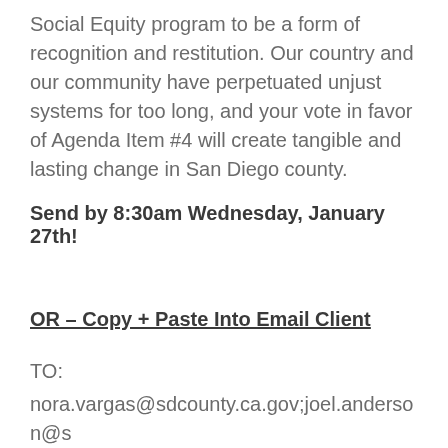Social Equity program to be a form of recognition and restitution. Our country and our community have perpetuated unjust systems for too long, and your vote in favor of Agenda Item #4 will create tangible and lasting change in San Diego county.
Send by 8:30am Wednesday, January 27th!
OR – Copy + Paste Into Email Client
TO:
nora.vargas@sdcounty.ca.gov;joel.anderson@sdcounty.ca.gov;terra.lawsonremer@sdcounty.ca.gov;nathan.fletcher@sdcounty.ca.gov;jim.des...